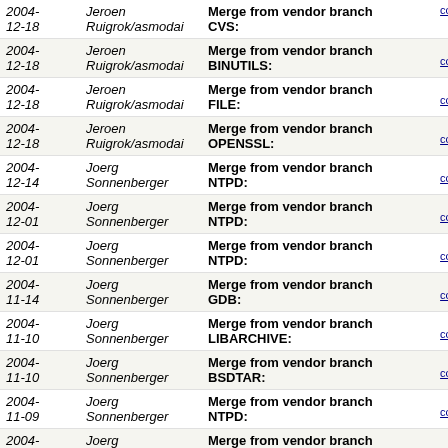| Date | Author | Message | Links |
| --- | --- | --- | --- |
| 2004-12-18 | Jeroen Ruigrok/asmodai | Merge from vendor branch CVS: | tree | commitdiff |
| 2004-12-18 | Jeroen Ruigrok/asmodai | Merge from vendor branch BINUTILS: | tree | commitdiff |
| 2004-12-18 | Jeroen Ruigrok/asmodai | Merge from vendor branch FILE: | tree | commitdiff |
| 2004-12-18 | Jeroen Ruigrok/asmodai | Merge from vendor branch OPENSSL: | tree | commitdiff |
| 2004-12-14 | Joerg Sonnenberger | Merge from vendor branch NTPD: | tree | commitdiff |
| 2004-12-01 | Joerg Sonnenberger | Merge from vendor branch NTPD: | tree | commitdiff |
| 2004-12-01 | Joerg Sonnenberger | Merge from vendor branch NTPD: | tree | commitdiff |
| 2004-11-14 | Joerg Sonnenberger | Merge from vendor branch GDB: | tree | commitdiff |
| 2004-11-10 | Joerg Sonnenberger | Merge from vendor branch LIBARCHIVE: | tree | commitdiff |
| 2004-11-10 | Joerg Sonnenberger | Merge from vendor branch BSDTAR: | tree | commitdiff |
| 2004-11-09 | Joerg Sonnenberger | Merge from vendor branch NTPD: | tree | commitdiff |
| 2004-11-09 | Joerg Sonnenberger | Merge from vendor branch NTPD: | tree | commitdiff |
| 2004-10-24 | Joerg Sonnenberger | Merge from vendor branch GDB: | tree | commitdiff |
| 2004- | Joerg Sonnenberger | Merge from vendor branch | tree | commitdiff |